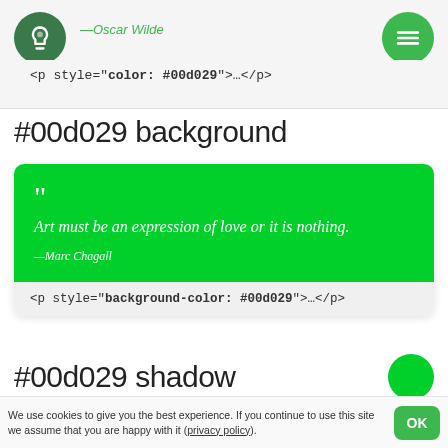[Figure (screenshot): Top bar with light bulb icon button on left and menu icon button on right]
—Oscar Wilde
<p style="color: #00d029">…</p>
#00d029 background
[Figure (screenshot): Green quote card with Marc Chagall quote: Art must be an expression of love or it is nothing.]
<p style="background-color: #00d029">…</p>
#00d029 shadow
We use cookies to give you the best experience. If you continue to use this site we assume that you are happy with it (privacy policy)